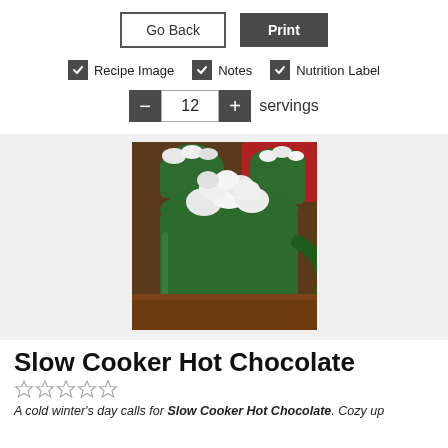Go Back | Print
Recipe Image   Notes   Nutrition Label
12 servings
[Figure (photo): Green mug filled with hot chocolate topped with marshmallows, with more mugs in the background]
Slow Cooker Hot Chocolate
★☆☆☆☆
A cold winter's day calls for Slow Cooker Hot Chocolate. Cozy up